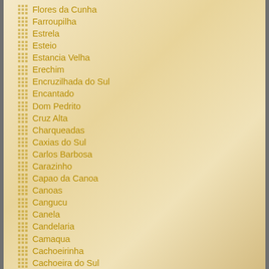Flores da Cunha
Farroupilha
Estrela
Esteio
Estancia Velha
Erechim
Encruzilhada do Sul
Encantado
Dom Pedrito
Cruz Alta
Charqueadas
Caxias do Sul
Carlos Barbosa
Carazinho
Capao da Canoa
Canoas
Cangucu
Canela
Candelaria
Camaqua
Cachoeirinha
Cachoeira do Sul